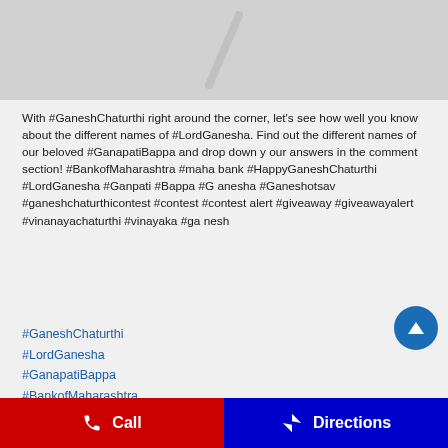[Figure (illustration): Partial decorative image at top of screen, mostly cropped, showing a diagonal line/shape on gray background]
With #GaneshChaturthi right around the corner, let's see how well you know about the different names of #LordGanesha. Find out the different names of our beloved #GanapatiBappa and drop down your answers in the comment section! #BankofMaharashtra #mahabank #HappyGaneshChaturthi #LordGanesha #Ganpati #Bappa #Ganesha #Ganeshotsav #ganeshchaturthicontest #contest #contestalert #giveaway #giveawayalert #vinanayachaturthi #vinayaka #ganesh
#GaneshChaturthi
#LordGanesha
#GanapatiBappa
#BankofMaharashtra
#mahabank
#HappyGaneshChaturthi
Call | Directions